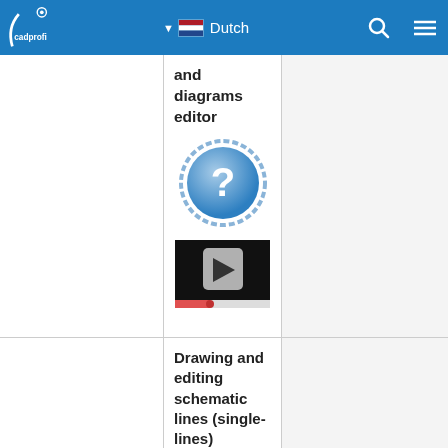cadprofi — Dutch
and diagrams editor
[Figure (illustration): Blue circular help/question mark icon]
[Figure (screenshot): Video player thumbnail with play button on black background]
Drawing and editing schematic lines (single-lines)
[Figure (illustration): Blue circular help/question mark icon (partially visible)]